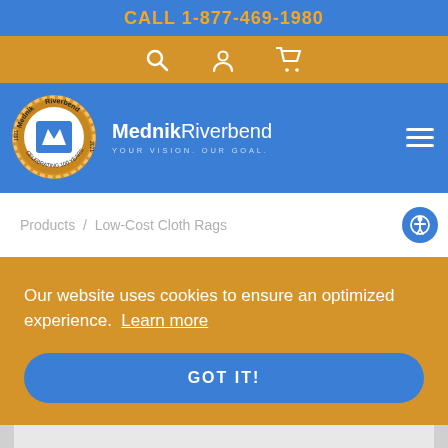CALL 1-877-469-1980
[Figure (screenshot): Icon bar with search, user account, and shopping cart icons on golden/amber background]
[Figure (logo): MednikRiverbend logo badge - circular gold seal with 100 years celebration, blue M icon in center]
MednikRiverbend YOUR VISION. OUR GOAL.
Products / Low-Cost Cloth Rags
Our website uses cookies to ensure an optimized experience. Learn more
GOT IT!